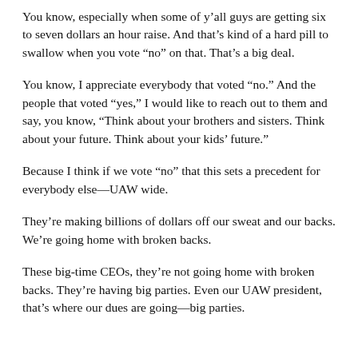You know, especially when some of y'all guys are getting six to seven dollars an hour raise. And that's kind of a hard pill to swallow when you vote “no” on that. That’s a big deal.
You know, I appreciate everybody that voted “no.” And the people that voted “yes,” I would like to reach out to them and say, you know, “Think about your brothers and sisters. Think about your future. Think about your kids’ future.”
Because I think if we vote “no” that this sets a precedent for everybody else—UAW wide.
They’re making billions of dollars off our sweat and our backs. We’re going home with broken backs.
These big-time CEOs, they’re not going home with broken backs. They’re having big parties. Even our UAW president, that’s where our dues are going—big parties.